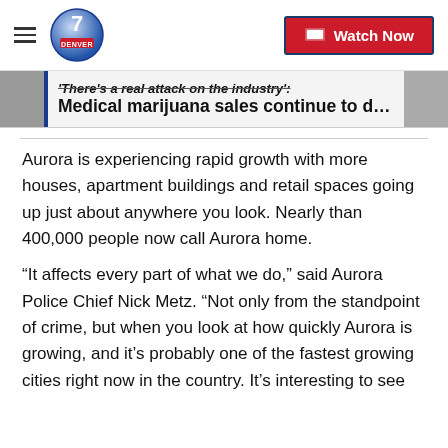Denver 7 News — Watch Now
There's a real attack on the industry': Medical marijuana sales continue to d…
Aurora is experiencing rapid growth with more houses, apartment buildings and retail spaces going up just about anywhere you look. Nearly than 400,000 people now call Aurora home.
“It affects every part of what we do,” said Aurora Police Chief Nick Metz. “Not only from the standpoint of crime, but when you look at how quickly Aurora is growing, and it’s probably one of the fastest growing cities right now in the country. It’s interesting to see